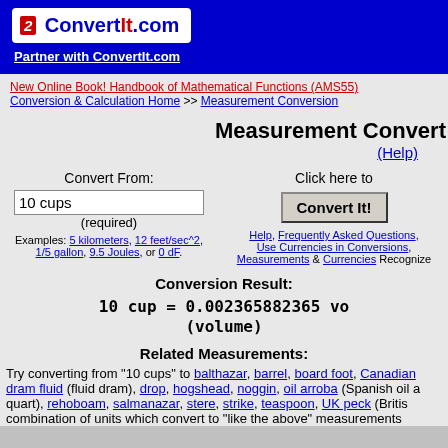[Figure (logo): ConvertIt.com logo with red icon and blue text on white background]
Partner with ConvertIt.com
New Online Book! Handbook of Mathematical Functions (AMS55)
Conversion & Calculation Home >> Measurement Conversion
Measurement Convert
(Help)
Convert From:
10 cups
(required)
Examples: 5 kilometers, 12 feet/sec^2, 1/5 gallon, 9.5 Joules, or 0 dF.
Click here to
Convert It!
Help, Frequently Asked Questions, Use Currencies in Conversions, Measurements & Currencies Recognized
Conversion Result:
10 cup = 0.002365882365 vo (volume)
Related Measurements:
Try converting from "10 cups" to balthazar, barrel, board foot, Canadian dram fluid (fluid dram), drop, hogshead, noggin, oil arroba (Spanish oil a quart), rehoboam, salmanazar, stere, strike, teaspoon, UK peck (Britis combination of units which convert to "like the above" measurements